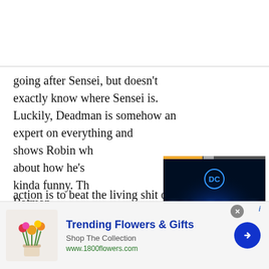going after Sensei, but doesn't exactly know where Sensei is. Luckily, Deadman is somehow an expert on everything and shows Robin wh about how he's kinda funny. Th Batman.
[Figure (screenshot): DC FanDome video overlay with progress bar, three-dot menu, close button, DC logo, FanDome Explore the Multiverse text, and orange arrow button]
…And Anubis. W with Anubis and
action is to beat the living shit out of him. But not just
[Figure (infographic): Advertisement banner for 1800flowers.com: Trending Flowers & Gifts, Shop The Collection, www.1800flowers.com with flower image and blue navigation arrow]